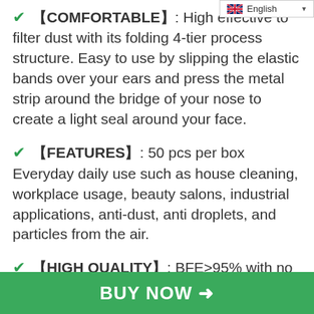English
✔ 【COMFORTABLE】: High effective to filter dust with its folding 4-tier process structure. Easy to use by slipping the elastic bands over your ears and press the metal strip around the bridge of your nose to create a light seal around your face.
✔ 【FEATURES】: 50 pcs per box Everyday daily use such as house cleaning, workplace usage, beauty salons, industrial applications, anti-dust, anti droplets, and particles from the air.
✔ 【HIGH QUALITY】: BFE>95% with no glass fibers, no agent composition: lead, cadmium and no formaldehyde.
BUY NOW →